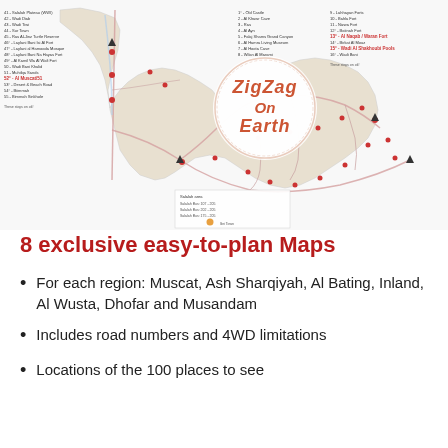[Figure (map): A road map of Oman showing regions, roads, and 100 numbered places to see. Includes a 'ZigZag On Earth' logo/watermark in the center of the map. Legend items listed on both left and right sides of the map.]
8 exclusive easy-to-plan Maps
For each region: Muscat, Ash Sharqiyah, Al Bating, Inland, Al Wusta, Dhofar and Musandam
Includes road numbers and 4WD limitations
Locations of the 100 places to see